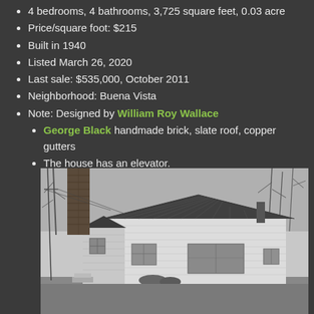4 bedrooms, 4 bathrooms, 3,725 square feet, 0.03 acre
Price/square foot: $215
Built in 1940
Listed March 26, 2020
Last sale: $535,000, October 2011
Neighborhood: Buena Vista
Note: Designed by William Roy Wallace
George Black handmade brick, slate roof, copper gutters
The house has an elevator.
[Figure (photo): Black and white photograph of a house with a metal roof, white siding, windows, and a large brick chimney on the left side. Bare trees visible in the background.]